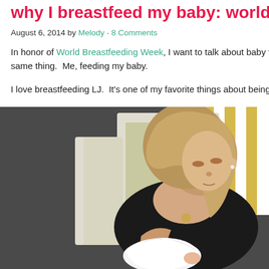why I breastfeed my baby: world…
August 6, 2014 by Melody · 8 Comments
In honor of World Breastfeeding Week, I want to talk about baby feed same thing.  Me, feeding my baby.
I love breastfeeding LJ.  It's one of my favorite things about being his m
[Figure (photo): A woman with long blonde/brown hair sits in a cream-colored chair with a yellow striped fabric visible at upper right. She wears a black tank top and a small gold coin necklace, looking down while breastfeeding an infant wrapped in white cloth. The background is dark gray.]